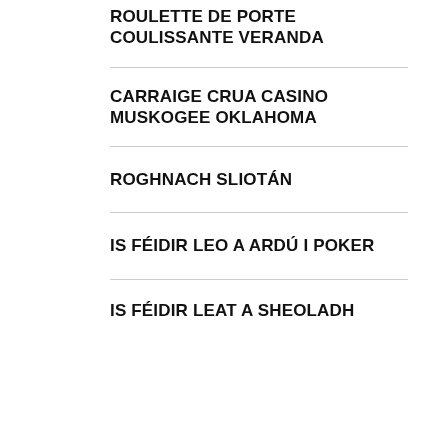ROULETTE DE PORTE COULISSANTE VERANDA
CARRAIGE CRUA CASINO MUSKOGEE OKLAHOMA
ROGHNACH SLIOTÁN
IS FÉIDIR LEO A ARDÚ I POKER
IS FÉIDIR LEAT A SHEOLADH